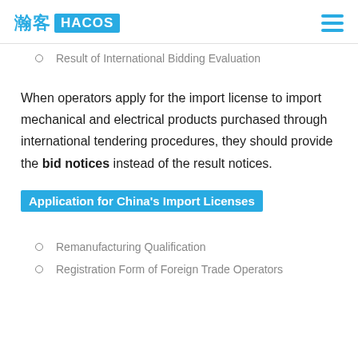瀚客 HACOS
Result of International Bidding Evaluation
When operators apply for the import license to import mechanical and electrical products purchased through international tendering procedures, they should provide the bid notices instead of the result notices.
Application for China's Import Licenses
Remanufacturing Qualification
Registration Form of Foreign Trade Operators